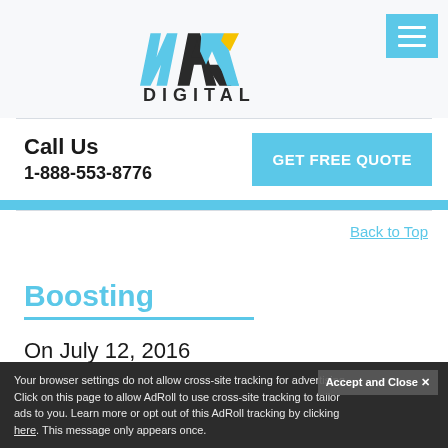[Figure (logo): MAX Digital logo — stylized letters M, A, X in blue/dark/yellow with 'DIGITAL' text below]
Call Us
1-888-553-8776
GET FREE QUOTE
Back to Top
Boosting
On July 12, 2016
Your browser settings do not allow cross-site tracking for advertising. Click on this page to allow AdRoll to use cross-site tracking to tailor ads to you. Learn more or opt out of this AdRoll tracking by clicking here. This message only appears once.